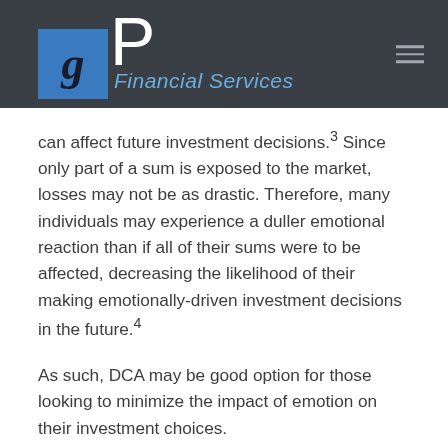GP Financial Services
can affect future investment decisions.³ Since only part of a sum is exposed to the market, losses may not be as drastic. Therefore, many individuals may experience a duller emotional reaction than if all of their sums were to be affected, decreasing the likelihood of their making emotionally-driven investment decisions in the future.⁴
As such, DCA may be good option for those looking to minimize the impact of emotion on their investment choices.